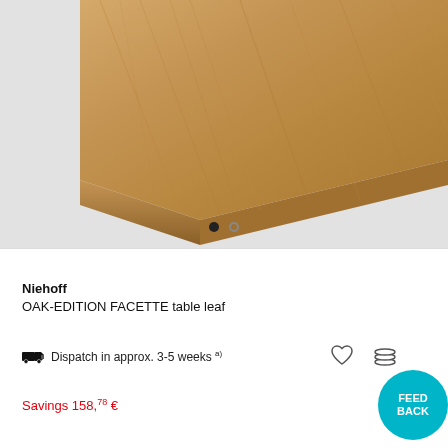[Figure (photo): Close-up of a wooden oak table surface/edge with natural wood grain texture, shown against a light grey background]
Niehoff
OAK-EDITION FACETTE table leaf
Dispatch in approx. 3-5 weeks a)
Savings 158,78 €
455,
FEED BACK